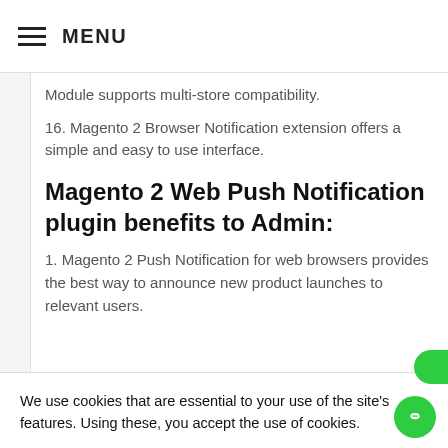MENU
Module supports multi-store compatibility.
16. Magento 2 Browser Notification extension offers a simple and easy to use interface.
Magento 2 Web Push Notification plugin benefits to Admin:
1. Magento 2 Push Notification for web browsers provides the best way to announce new product launches to relevant users.
We use cookies that are essential to your use of the site's features. Using these, you accept the use of cookies.
MORE INFO
ACCEPT
4. Magento 2 Web Push Notification Module re-targets users which results in boosting conversions and